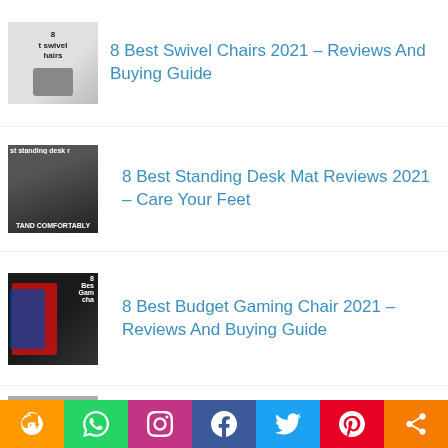8 Best Swivel Chairs 2021 – Reviews And Buying Guide
8 Best Standing Desk Mat Reviews 2021 – Care Your Feet
8 Best Budget Gaming Chair 2021 – Reviews And Buying Guide
7 Best Reading Chairs 2021 – Top